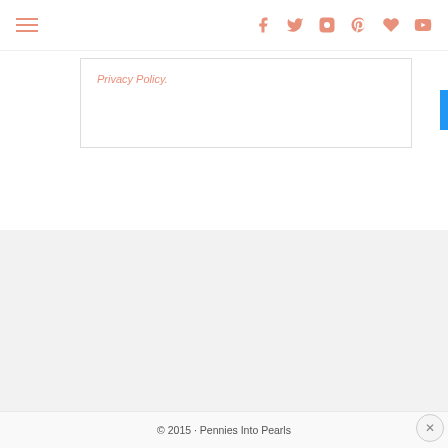Navigation header with hamburger menu and social icons
Privacy Policy.
[Figure (infographic): Footer social media icons row: Facebook, Twitter, Instagram, Pinterest, Heart/Bloglovin, YouTube, Snapchat, RSS]
© 2015 · Pennies Into Pearls